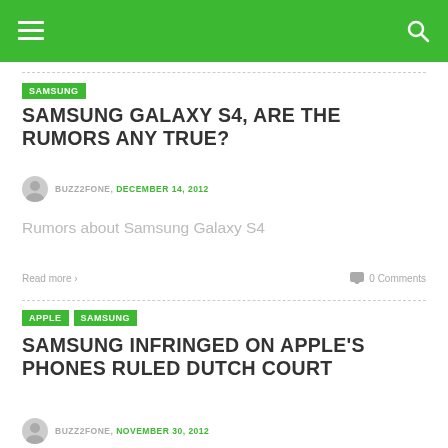Navigation header bar with hamburger menu and search icon
SAMSUNG
SAMSUNG GALAXY S4, ARE THE RUMORS ANY TRUE?
BUZZ2FONE, DECEMBER 14, 2012
Rumors about Samsung Galaxy S4
Read more › 0 Comments
APPLE SAMSUNG
SAMSUNG INFRINGED ON APPLE'S PHONES RULED DUTCH COURT
BUZZ2FONE, NOVEMBER 30, 2012